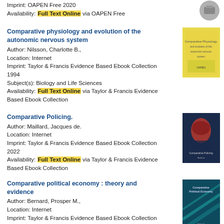Imprint: OAPEN Free 2020
Availability: Full Text Online via OAPEN Free
Comparative physiology and evolution of the autonomic nervous system
Author: Nilsson, Charlotte B.,
Location: Internet
Imprint: Taylor & Francis Evidence Based Ebook Collection 1994
Subject(s): Biology and Life Sciences
Availability: Full Text Online via Taylor & Francis Evidence Based Ebook Collection
[Figure (photo): Book cover for Comparative physiology and evolution of the autonomic nervous system - yellow cover]
Comparative Policing.
Author: Maillard, Jacques de.
Location: Internet
Imprint: Taylor & Francis Evidence Based Ebook Collection 2022
Availability: Full Text Online via Taylor & Francis Evidence Based Ebook Collection
[Figure (photo): Book cover for Comparative Policing - dark cover with person in red hat]
Comparative political economy : theory and evidence
Author: Bernard, Prosper M.,
Location: Internet
Imprint: Taylor & Francis Evidence Based Ebook Collection 2022
Subject(s): Economics and Business
Availability: Full Text Online via Taylor & Francis Evidence Based Ebook Collection
[Figure (photo): Book cover for Comparative Political Economy - teal/blue cover]